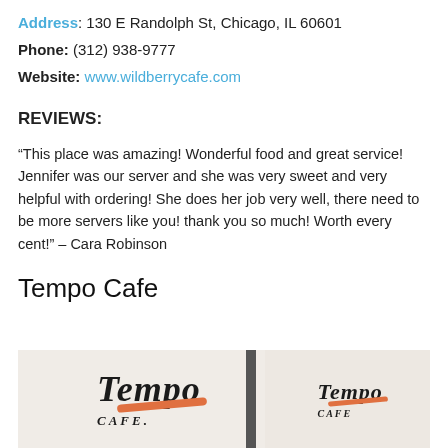Address: 130 E Randolph St, Chicago, IL 60601
Phone: (312) 938-9777
Website: www.wildberrycafe.com
REVIEWS:
“This place was amazing! Wonderful food and great service! Jennifer was our server and she was very sweet and very helpful with ordering! She does her job very well, there need to be more servers like you! thank you so much! Worth every cent!” – Cara Robinson
Tempo Cafe
[Figure (photo): Exterior photo of Tempo Cafe showing the restaurant sign with cursive 'Tempo Cafe' lettering and an orange swoosh, with a street pole in the foreground and a second smaller Tempo Cafe sign visible to the right.]